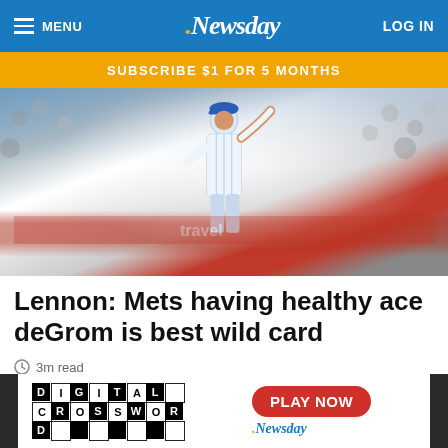MENU   .Newsday   LOG IN
SUBSCRIBE $1 FOR 5 MONTHS
[Figure (photo): Baseball player in NY Mets blue and white pinstripe uniform raising arm at night game, crowd in background]
Lennon: Mets having healthy ace deGrom is best wild card
3m read
[Figure (infographic): Advertisement for Newsday Digital Crossword with PLAY NOW button]